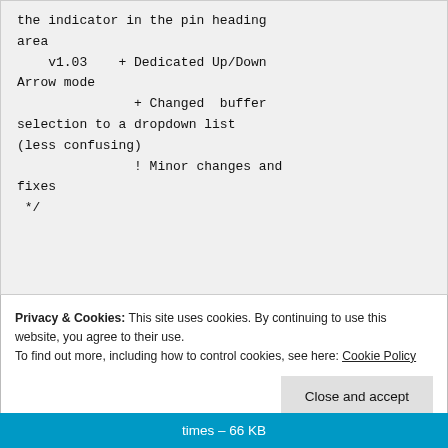the indicator in the pin heading area
    v1.03    + Dedicated Up/Down Arrow mode
               + Changed  buffer selection to a dropdown list (less confusing)
               ! Minor changes and fixes
 */
Privacy & Cookies: This site uses cookies. By continuing to use this website, you agree to their use.
To find out more, including how to control cookies, see here: Cookie Policy
Close and accept
times – 66 KB